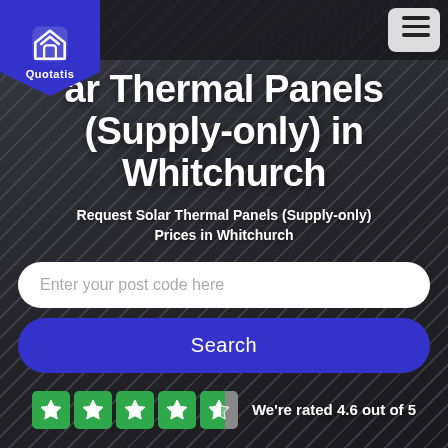[Figure (logo): Quotatis logo — white house icon on blue pentagon/shield background with text 'Quotatis']
ar Thermal Panels (Supply-only) in Whitchurch
Request Solar Thermal Panels (Supply-only) Prices in Whitchurch
Enter your post code here
Search
We're rated 4.6 out of 5